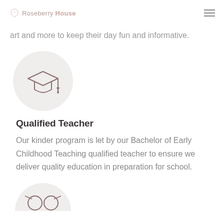Roseberry House
art and more to keep their day fun and informative.
[Figure (illustration): Circular grey icon containing a graduation cap symbol]
Qualified Teacher
Our kinder program is let by our Bachelor of Early Childhood Teaching qualified teacher to ensure we deliver quality education in preparation for school.
[Figure (illustration): Partial view of a circular grey icon, cut off at the bottom of the page]